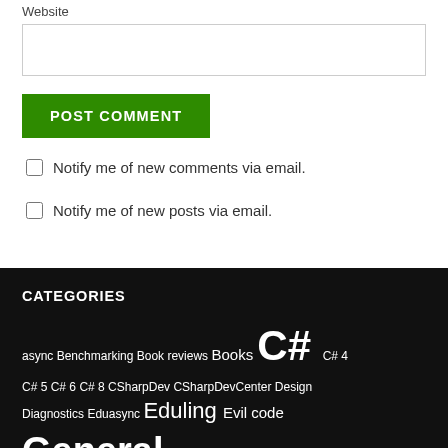Website
POST COMMENT
Notify me of new comments via email.
Notify me of new posts via email.
CATEGORIES
async Benchmarking Book reviews Books C# C# 4 C# 5 C# 6 C# 8 CSharpDev CSharpDevCenter Design Diagnostics Eduasync Eduling Evil code General